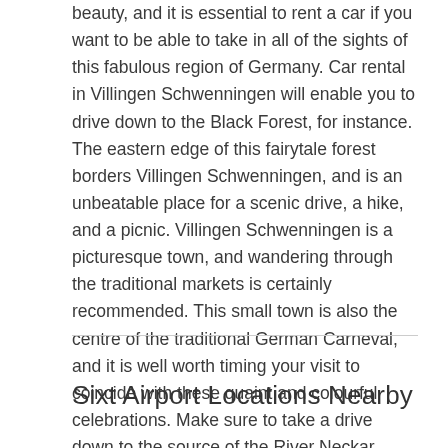beauty, and it is essential to rent a car if you want to be able to take in all of the sights of this fabulous region of Germany. Car rental in Villingen Schwenningen will enable you to drive down to the Black Forest, for instance. The eastern edge of this fairytale forest borders Villingen Schwenningen, and is an unbeatable place for a scenic drive, a hike, and a picnic. Villingen Schwenningen is a picturesque town, and wandering through the traditional markets is certainly recommended. This small town is also the centre of the traditional German Carneval, and it is well worth timing your visit to coincide with these quaint and colourful celebrations. Make sure to take a drive down to the source of the River Neckar, which is the main river in the region.
Sixt Airport Locations Nearby